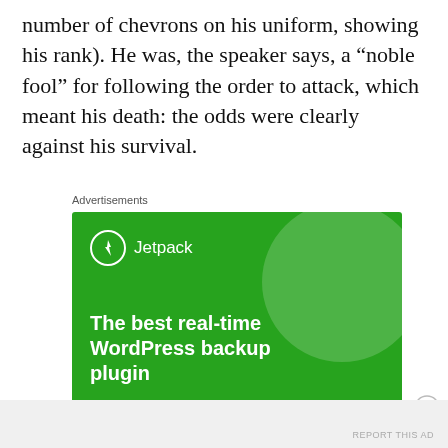number of chevrons on his uniform, showing his rank). He was, the speaker says, a “noble fool” for following the order to attack, which meant his death: the odds were clearly against his survival.
Advertisements
[Figure (screenshot): Jetpack advertisement banner with green background showing logo and text 'The best real-time WordPress backup plugin']
Advertisements